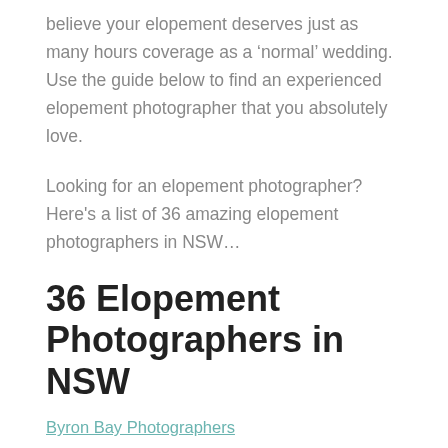believe your elopement deserves just as many hours coverage as a ‘normal’ wedding. Use the guide below to find an experienced elopement photographer that you absolutely love.
Looking for an elopement photographer? Here’s a list of 36 amazing elopement photographers in NSW…
36 Elopement Photographers in NSW
Byron Bay Photographers
Central Coast Photographers
Hunter Valley Photographers